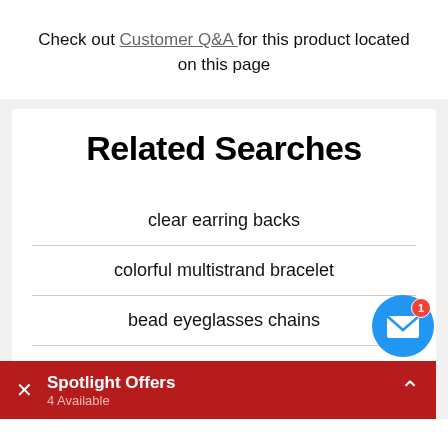Check out Customer Q&A for this product located on this page
Related Searches
clear earring backs
colorful multistrand bracelet
bead eyeglasses chains
pearl eyeglass chain
Spotlight Offers · 4 Available